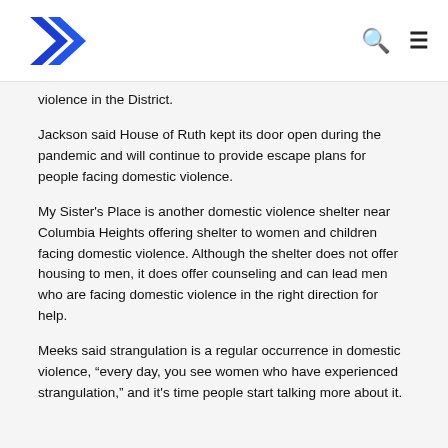[Logo] [Search icon] [Menu icon]
violence in the District.
Jackson said House of Ruth kept its door open during the pandemic and will continue to provide escape plans for people facing domestic violence.
My Sister’s Place is another domestic violence shelter near Columbia Heights offering shelter to women and children facing domestic violence. Although the shelter does not offer housing to men, it does offer counseling and can lead men who are facing domestic violence in the right direction for help.
Meeks said strangulation is a regular occurrence in domestic violence, “every day, you see women who have experienced strangulation,” and it’s time people start talking more about it.